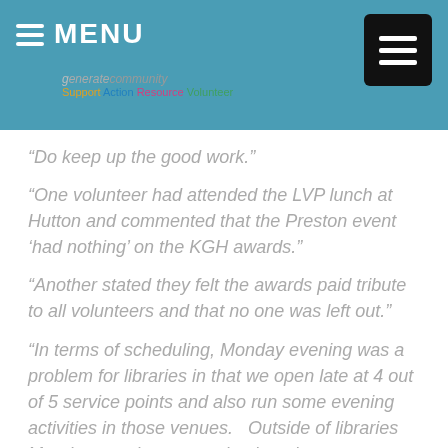MENU
“Do keep up the good work.”
“One volunteer had attended the LVP lunch at Hutton and commented that the Preston event ‘had nothing’ on the KGH awards.”
“Another stated they felt the awards paid tribute to all volunteers and that no one was left out.”
“In terms of scheduling, Monday evening was a problem for libraries in that we open late at 4 out of 5 service points and also run some evening activities in those venues.   Outside of libraries Monday evening seemed to be a busy